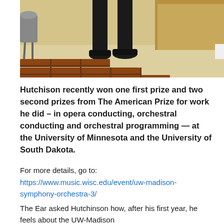[Figure (photo): Photo showing legs of a person standing at a podium/lectern in what appears to be a lecture hall or auditorium with wooden tiered seating visible]
Hutchison recently won one first prize and two second prizes from The American Prize for work he did – in opera conducting, orchestral conducting and orchestral programming — at the University of Minnesota and the University of South Dakota.
For more details, go to:
https://www.music.wisc.edu/event/uw-madison-symphony-orchestra-3/
The Ear asked Hutchinson how, after his first year, he feels about the UW-Madison